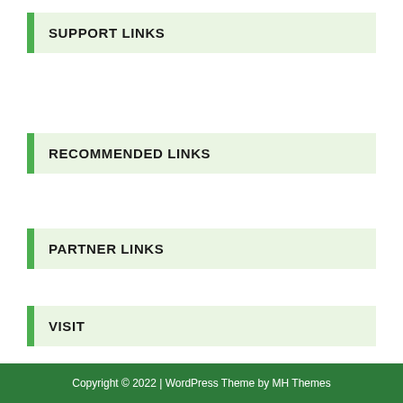SUPPORT LINKS
RECOMMENDED LINKS
PARTNER LINKS
VISIT
Nursery
Copyright © 2022 | WordPress Theme by MH Themes